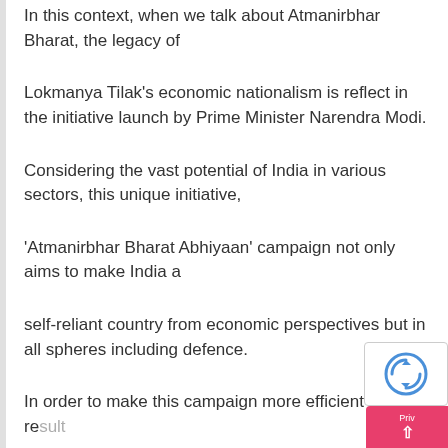In this context, when we talk about Atmanirbhar Bharat, the legacy of
Lokmanya Tilak's economic nationalism is reflect in the initiative launch by Prime Minister Narendra Modi.
Considering the vast potential of India in various sectors, this unique initiative,
'Atmanirbhar Bharat Abhiyaan' campaign not only aims to make India a
self-reliant country from economic perspectives but in all spheres including defence.
In order to make this campaign more efficient and result